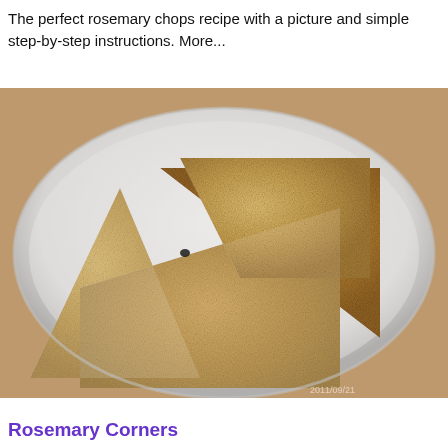The perfect rosemary chops recipe with a picture and simple step-by-step instructions. More...
[Figure (photo): Photograph of several golden-brown triangular rosemary flatbread chops/scones piled on a white plate, dusted with flour or seasoning, on a light background.]
Rosemary Corners